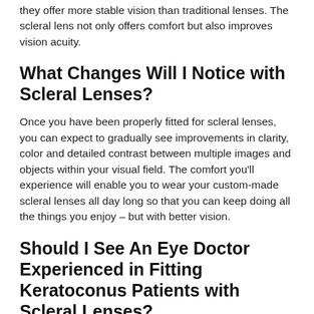they offer more stable vision than traditional lenses. The scleral lens not only offers comfort but also improves vision acuity.
What Changes Will I Notice with Scleral Lenses?
Once you have been properly fitted for scleral lenses, you can expect to gradually see improvements in clarity, color and detailed contrast between multiple images and objects within your visual field. The comfort you'll experience will enable you to wear your custom-made scleral lenses all day long so that you can keep doing all the things you enjoy – but with better vision.
Should I See An Eye Doctor Experienced in Fitting Keratoconus Patients with Scleral Lenses?